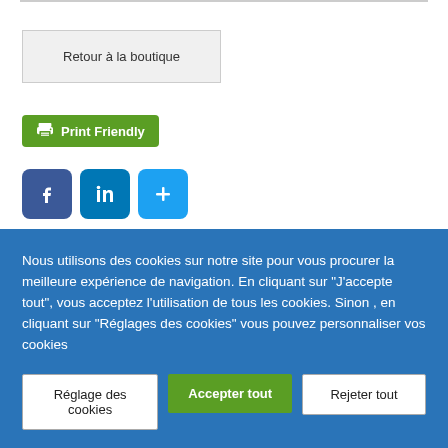Retour à la boutique
[Figure (screenshot): Print Friendly green button with printer icon]
[Figure (screenshot): Social share buttons: Facebook (blue f), LinkedIn (blue in), More (blue +)]
Nous utilisons des cookies sur notre site pour vous procurer la meilleure expérience de navigation. En cliquant sur "J'accepte tout", vous acceptez l'utilisation de tous les cookies. Sinon , en cliquant sur "Réglages des cookies" vous pouvez personnaliser vos cookies
Réglage des cookies
Accepter tout
Rejeter tout